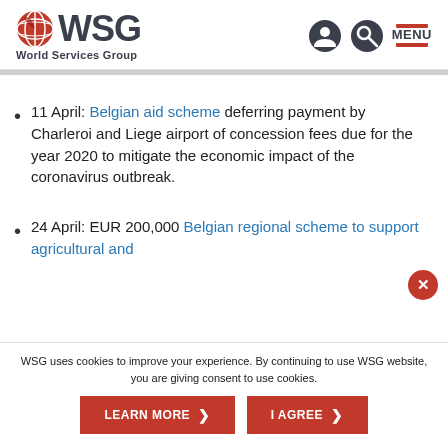[Figure (logo): WSG World Services Group logo with globe icon]
11 April: Belgian aid scheme deferring payment by Charleroi and Liege airport of concession fees due for the year 2020 to mitigate the economic impact of the coronavirus outbreak.
24 April: EUR 200,000 Belgian regional scheme to support agricultural and
WSG uses cookies to improve your experience. By continuing to use WSG website, you are giving consent to use cookies.
LEARN MORE | I AGREE